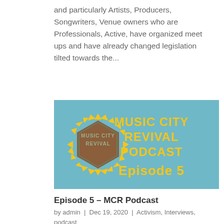and particularly Artists, Producers, Songwriters, Venue owners who are Professionals, Active, have organized meet ups and have already changed legislation tilted towards the...
[Figure (illustration): Music City Revival Podcast Episode 5 promotional image. Light blue background with a sunflower-shaped badge on the left containing a brown hexagonal sign reading 'MUSIC CITY REVIVAL'. On the right side, large yellow bold text reads 'MUSIC CITY REVIVAL PODCAST' and below it 'Episode 5'.]
Episode 5 – MCR Podcast
by admin | Dec 19, 2020 | Activism, Interviews, podcast
Episode 5 of Music City Revival – Host Dan Hagen talks to Grammy award winning producer Lij Shaw